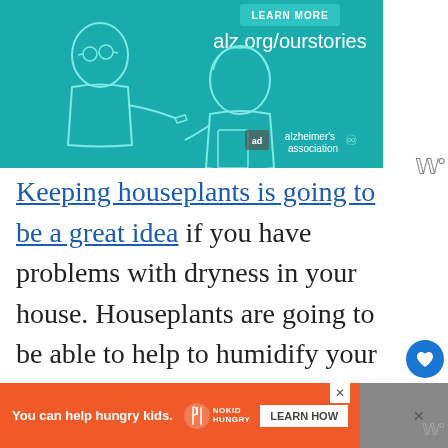[Figure (illustration): Alzheimer's Association advertisement showing two illustrated figures on a teal background with text 'alz.org/ourstories' and 'LEARN MORE' button, with Alzheimer's Association logo.]
Keeping houseplants is going to be a great idea if you have problems with dryness in your house. Houseplants are going to be able to help to humidify your home in a natural way. The leaves of your plants will wind up having moisture on them. This moisture will evaporate into the air and add some of the hu
[Figure (infographic): Bottom advertisement banner: orange background with text 'You can help hungry kids.' No Kid Hungry logo and 'LEARN HOW' button.]